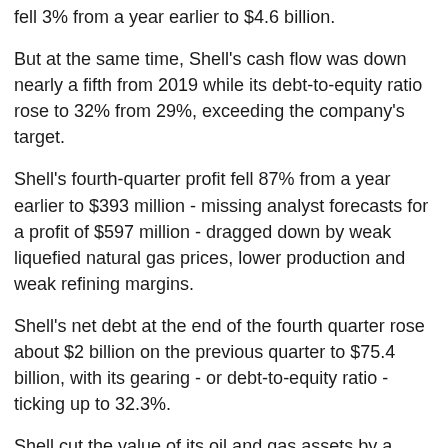fell 3% from a year earlier to $4.6 billion.
But at the same time, Shell's cash flow was down nearly a fifth from 2019 while its debt-to-equity ratio rose to 32% from 29%, exceeding the company's target.
Shell's fourth-quarter profit fell 87% from a year earlier to $393 million - missing analyst forecasts for a profit of $597 million - dragged down by weak liquefied natural gas prices, lower production and weak refining margins.
Shell's net debt at the end of the fourth quarter rose about $2 billion on the previous quarter to $75.4 billion, with its gearing - or debt-to-equity ratio - ticking up to 32.3%.
Shell cut the value of its oil and gas assets by a further $2.7 billion after writing them down by $17.8 billion last year following the lowering of its energy price outlook.
The latest writedowns were due in part to charges related to